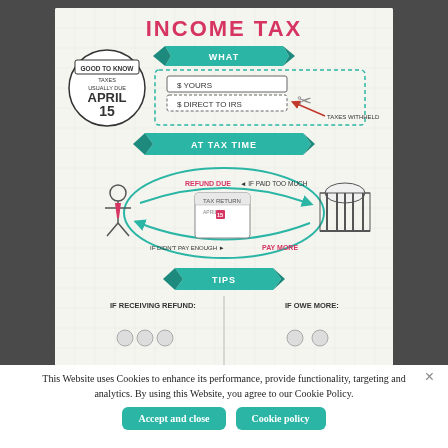[Figure (infographic): Income Tax infographic showing: title 'INCOME TAX', 'GOOD TO KNOW - TAXES USUALLY DUE APRIL 15' badge, 'WHAT' section with '$ YOURS' and '$ DIRECT TO IRS' with scissors and 'TAXES WITHHELD' label, 'AT TAX TIME' section with circular arrows showing 'REFUND DUE IF PAID TOO MUCH' and 'IF DIDN'T PAY ENOUGH PAY MORE', a stick figure, calendar/tax return, and government building, 'TIPS' section with 'IF RECEIVING REFUND' and 'IF OWE MORE']
This Website uses Cookies to enhance its performance, provide functionality, targeting and analytics. By using this Website, you agree to our Cookie Policy.
Accept and close
Cookie policy